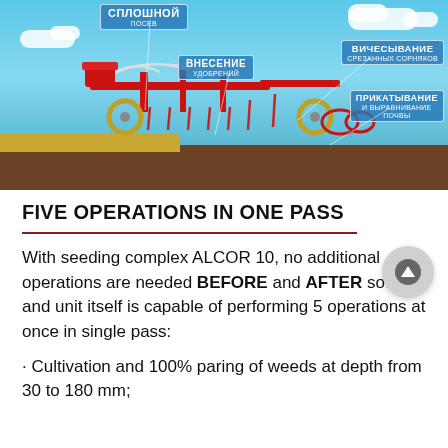[Figure (illustration): Illustration of the ALCOR 10 seeding complex (red agricultural machine) shown in cross-section operation against a blue sky background. Russian language labels with arrows indicate five operations: СПЛОШНОЙ ПОСЕВ (complete sowing), ВНЕСЕНИЕ УДОБРЕНИЙ (fertilizer application), ВИЧЕСЫВАНИЕ СРЕЗАННЫХ СОРНЯКОВ (combing of cut weeds), ПРИКАТЫВАНИЕ И ВЫРАВНИВАНИЕ ПОЧВЫ (rolling and leveling of soil). Machine is shown moving over brown soil with wheat stubble on left.]
FIVE OPERATIONS IN ONE PASS
With seeding complex ALCOR 10, no additional operations are needed BEFORE and AFTER sowing, and unit itself is capable of performing 5 operations at once in single pass:
• Cultivation and 100% paring of weeds at depth from 30 to 180 mm;